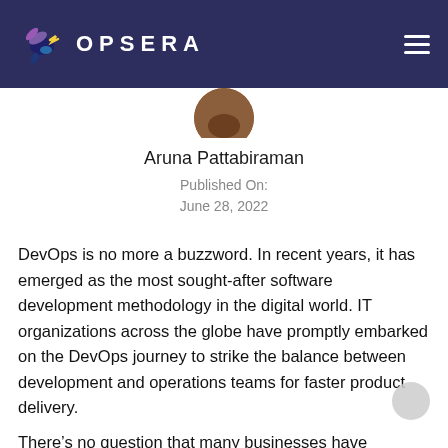[Figure (logo): Opsera logo with stylized hummingbird icon and OPSERA text in white on dark navy background, with hamburger menu icon on the right]
Aruna Pattabiraman
Published On:
June 28, 2022
DevOps is no more a buzzword. In recent years, it has emerged as the most sought-after software development methodology in the digital world. IT organizations across the globe have promptly embarked on the DevOps journey to strike the balance between development and operations teams for faster product delivery.
There’s no question that many businesses have